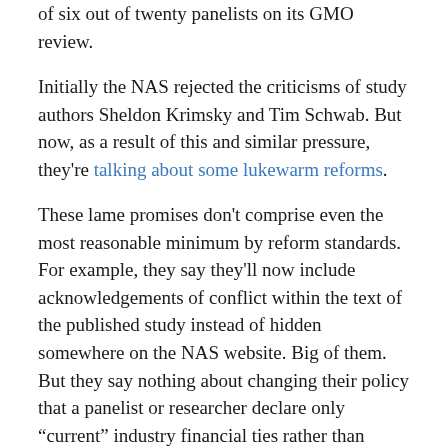of six out of twenty panelists on its GMO review.
Initially the NAS rejected the criticisms of study authors Sheldon Krimsky and Tim Schwab. But now, as a result of this and similar pressure, they're talking about some lukewarm reforms.
These lame promises don't comprise even the most reasonable minimum by reform standards. For example, they say they'll now include acknowledgements of conflict within the text of the published study instead of hidden somewhere on the NAS website. Big of them. But they say nothing about changing their policy that a panelist or researcher declare only “current” industry financial ties rather than relations over the past several years. In other words the NAS denies there’s any such thing as a